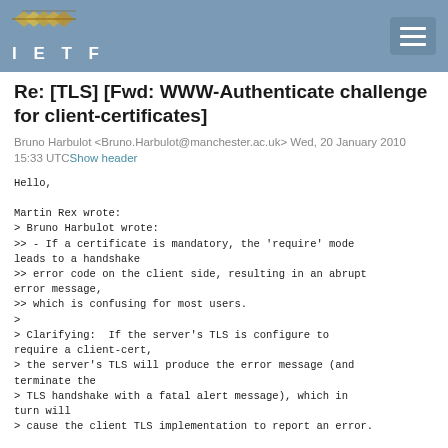IETF
Re: [TLS] [Fwd: WWW-Authenticate challenge for client-certificates]
Bruno Harbulot <Bruno.Harbulot@manchester.ac.uk> Wed, 20 January 2010 15:33 UTC Show header
Hello,

Martin Rex wrote:
> Bruno Harbulot wrote:
>> - If a certificate is mandatory, the 'require' mode leads to a handshake
>> error code on the client side, resulting in an abrupt error message,
>> which is confusing for most users.
>
> Clarifying:  If the server's TLS is configure to require a client-cert,
> the server's TLS will produce the error message (and terminate the
> TLS handshake with a fatal alert message), which in turn will
> cause the client TLS implementation to report an error.